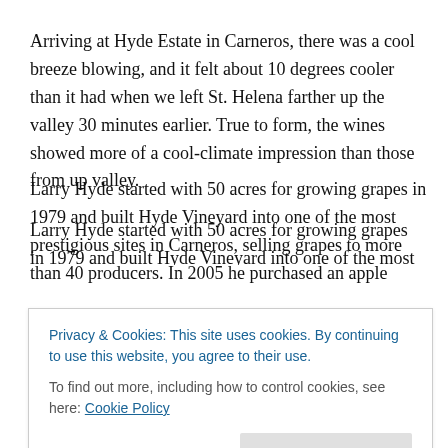Arriving at Hyde Estate in Carneros, there was a cool breeze blowing, and it felt about 10 degrees cooler than it had when we left St. Helena farther up the valley 30 minutes earlier. True to form, the wines showed more of a cool-climate impression than those from up valley.
Larry Hyde started with 50 acres for growing grapes in 1979 and built Hyde Vineyard into one of the most prestigious sites in Carneros, selling grapes to more than 40 producers. In 2005 he purchased an apple orchard close by, and in 2006 he planted it to Pinot Noir. "The
Privacy & Cookies: This site uses cookies. By continuing to use this website, you agree to their use.
To find out more, including how to control cookies, see here: Cookie Policy
planted with Syrah, Merlot, Viognier, Cabernet Franc.